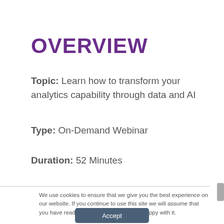OVERVIEW
Topic: Learn how to transform your analytics capability through data and AI
Type: On-Demand Webinar
Duration: 52 Minutes
We use cookies to ensure that we give you the best experience on our website. If you continue to use this site we will assume that you have read our cookie policy and are happy with it.
Accept